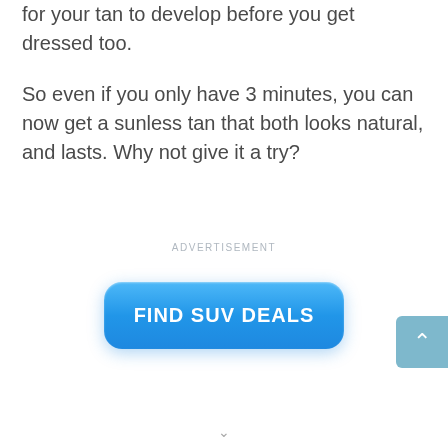for your tan to develop before you get dressed too.
So even if you only have 3 minutes, you can now get a sunless tan that both looks natural, and lasts. Why not give it a try?
ADVERTISEMENT
[Figure (other): Blue rounded rectangle button with white bold text reading FIND SUV DEALS]
[Figure (other): Scroll-to-top button in steel blue with an upward chevron arrow, partially visible at right edge]
v